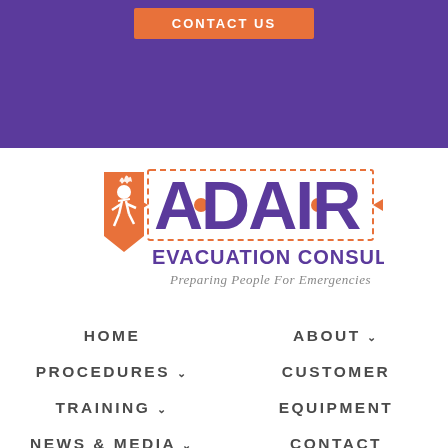CONTACT US
[Figure (logo): Adair Evacuation Consultants logo with orange shield and purple ADAIR text. Tagline: Preparing People For Emergencies]
HOME
ABOUT
PROCEDURES
CUSTOMER
TRAINING
EQUIPMENT
NEWS & MEDIA
CONTACT